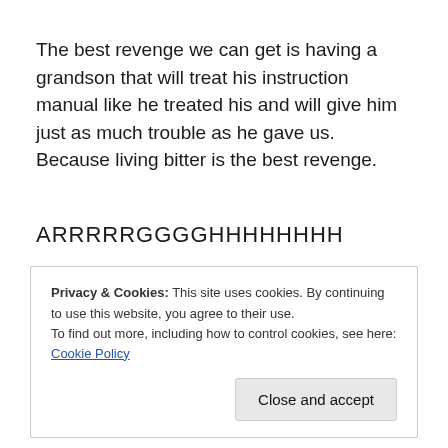The best revenge we can get is having a grandson that will treat his instruction manual like he treated his and will give him just as much trouble as he gave us. Because living bitter is the best revenge.
ARRRRRGGGGHHHHHHHH
Bitter Instruction Manual Ben
REPORT THIS AD
Privacy & Cookies: This site uses cookies. By continuing to use this website, you agree to their use.
To find out more, including how to control cookies, see here: Cookie Policy
Close and accept